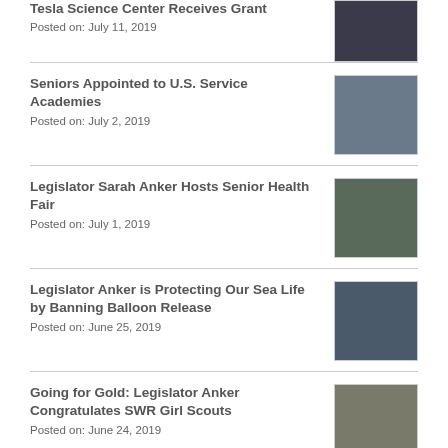Tesla Science Center Receives Grant
Posted on: July 11, 2019
[Figure (photo): Photo related to Tesla Science Center grant]
Seniors Appointed to U.S. Service Academies
Posted on: July 2, 2019
[Figure (photo): Group photo of seniors appointed to service academies with American flag]
Legislator Sarah Anker Hosts Senior Health Fair
Posted on: July 1, 2019
[Figure (photo): Photo from Senior Health Fair event]
Legislator Anker is Protecting Our Sea Life by Banning Balloon Release
Posted on: June 25, 2019
[Figure (photo): Photo related to sea life and balloon release ban]
Going for Gold: Legislator Anker Congratulates SWR Girl Scouts
Posted on: June 24, 2019
[Figure (photo): Photo of Legislator Anker with SWR Girl Scouts]
Legislator Anker Congratulates Young